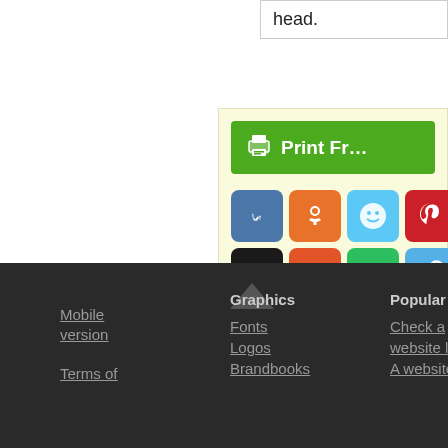head.
[Figure (screenshot): Print Friendly button (green) followed by a 4x3 grid of social media share icons: VK (blue), Odnoklassniki (orange), Smile (light blue), Pinterest (red), Digg (black), Reddit (orange-red), Evernote (green), Clip (blue), Skype (blue), Telegram (blue), LinkedIn (blue), Star/bookmark (orange)]
Mobile version   Terms of   Graphics   Fonts   Logos   Brandbooks   Popular   Check a website level   A website
Mobile version
Terms of
Graphics
Fonts
Logos
Brandbooks
Popular
Check a website level
A website